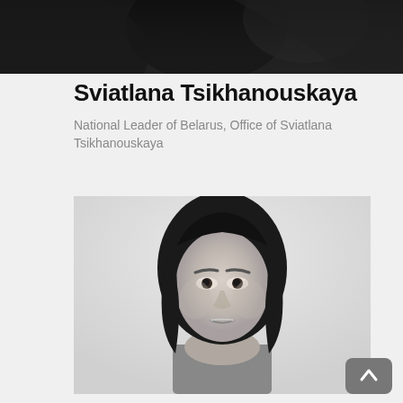[Figure (photo): Black and white photograph cropped at top, showing partial dark figures against dark background]
Sviatlana Tsikhanouskaya
National Leader of Belarus, Office of Sviatlana Tsikhanouskaya
[Figure (photo): Black and white portrait photograph of a woman with long dark hair, facing forward with a neutral expression, against a light background]